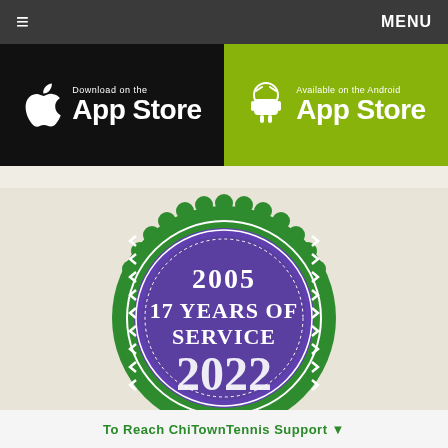≡  MENU
[Figure (logo): Apple App Store download badge — black background with Apple logo, text 'Download on the App Store']
[Figure (logo): Android App Store badge — green background with Android logo, text 'Available on the Android App Store']
[Figure (infographic): Circular badge with green scalloped outer ring and purple inner circle with white text reading '2005 17 YEARS OF SERVICE 2022']
To Reach ChiTownTennis Support ▼